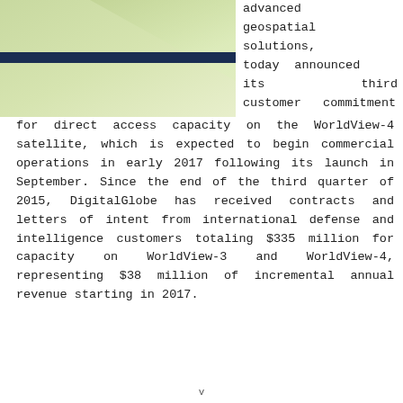[Figure (illustration): DigitalGlobe logo area with green gradient background and dark navy horizontal bar]
advanced geospatial solutions, today announced its third customer commitment for direct access capacity on the WorldView-4 satellite, which is expected to begin commercial operations in early 2017 following its launch in September. Since the end of the third quarter of 2015, DigitalGlobe has received contracts and letters of intent from international defense and intelligence customers totaling $335 million for capacity on WorldView-3 and WorldView-4, representing $38 million of incremental annual revenue starting in 2017.
v